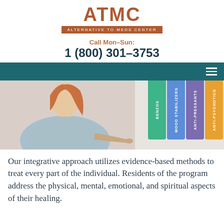[Figure (logo): ATMC - Alternative to Meds Center logo with brown letters and subtitle bar]
Call Mon-Sun:
1 (800) 301-3753
[Figure (photo): Navigation bar with hamburger menu icon on dark teal background, and a hero image showing a woman in a light blue sweater pointing at colored vertical bars labeled BENZOS, MOOD STABILIZERS, ANTI-PRESSANTS, ANTI-PSYCHOTICS]
Our integrative approach utilizes evidence-based methods to treat every part of the individual. Residents of the program address the physical, mental, emotional, and spiritual aspects of their healing.